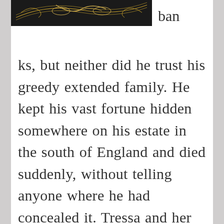[Figure (illustration): Top portion of a book cover with dark background and gold decorative ornamental design]
ban
ks, but neither did he trust his greedy extended family. He kept his vast fortune hidden somewhere on his estate in the south of England and died suddenly, without telling anyone where he had concealed it. Tressa and her ailing mother are left with a mansion and an immense vineyard and no money to run it.